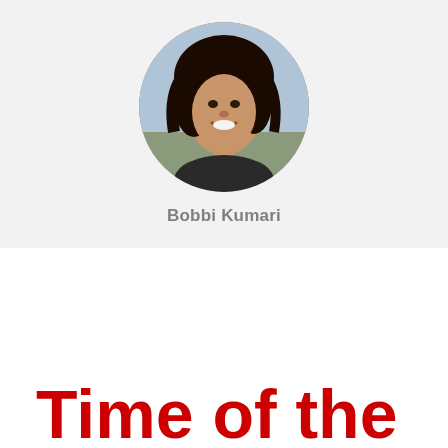[Figure (photo): Circular profile photo of a woman with dark hair, smiling, outdoors background]
Bobbi Kumari
Time of the